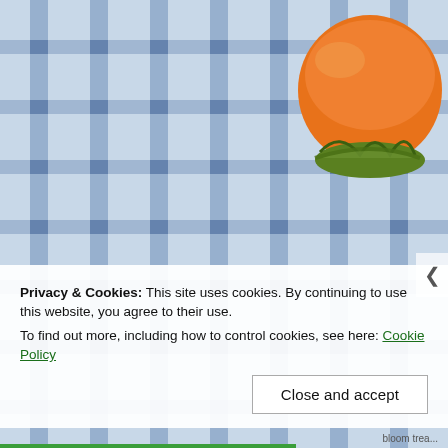[Figure (photo): Three persimmon fruits with green leafy calyxes arranged on a blue and white checked textile/cloth background. Viewed from above.]
Privacy & Cookies: This site uses cookies. By continuing to use this website, you agree to their use.
To find out more, including how to control cookies, see here: Cookie Policy
Close and accept